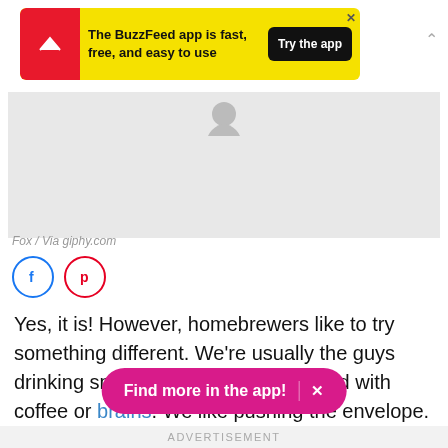[Figure (screenshot): BuzzFeed app advertisement banner with yellow background, red circular logo with white arrow, text 'The BuzzFeed app is fast, free, and easy to use' and black 'Try the app' button]
[Figure (photo): Gray placeholder image area with a small gear/settings icon at the top center]
Fox / Via giphy.com
[Figure (infographic): Social sharing icons: Facebook (blue circle with f) and Pinterest (red circle with p)]
Yes, it is! However, homebrewers like to try something different. We're usually the guys drinking smoked beer, or beer brewed with coffee or brains. We like pushing the envelope. We're like the Steve Jobs of beer.
[Figure (screenshot): Pink 'Find more in the app!' button with X close icon]
ADVERTISEMENT